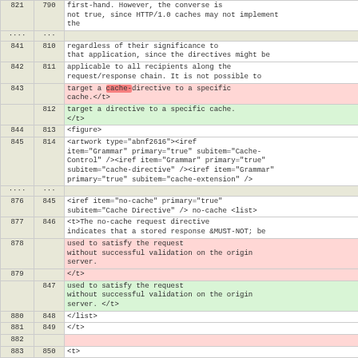| Line A | Line B | Content |
| --- | --- | --- |
| 821 | 790 | first-hand. However, the converse is not true, since HTTP/1.0 caches may not implement the |
| ... | ... |  |
| 841 | 810 |             regardless of their significance to that application, since the directives might be |
| 842 | 811 |             applicable to all recipients along the request/response chain. It is not possible to |
| 843 |  |                 target a cache-directive to a specific cache.</t> |
|  | 812 |                 target a directive to a specific cache. </t> |
| 844 | 813 |                 <figure> |
| 845 | 814 |                 <artwork type="abnf2616"><iref item="Grammar" primary="true" subitem="Cache-Control" /><iref item="Grammar" primary="true" subitem="cache-directive" /><iref item="Grammar" primary="true" subitem="cache-extension" /> |
| ... | ... |  |
| 876 | 845 |                     <iref item="no-cache" primary="true" subitem="Cache Directive" /> no-cache <list> |
| 877 | 846 |                     <t>The no-cache request directive indicates that a stored response &MUST-NOT; be |
| 878 |  |                         used to satisfy the request without successful validation on the origin server. |
| 879 |  |                         </t> |
|  | 847 |                         used to satisfy the request without successful validation on the origin server. </t> |
| 880 | 848 |                         </list> |
| 881 | 849 |                 </t> |
| 882 |  |  |
| 883 | 850 |             <t> |